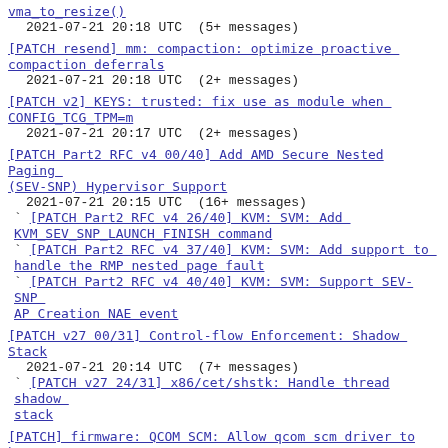vma_to_resize()
  2021-07-21 20:18 UTC  (5+ messages)
[PATCH resend] mm: compaction: optimize proactive compaction deferrals
  2021-07-21 20:18 UTC  (2+ messages)
[PATCH v2] KEYS: trusted: fix use as module when CONFIG_TCG_TPM=m
  2021-07-21 20:17 UTC  (2+ messages)
[PATCH Part2 RFC v4 00/40] Add AMD Secure Nested Paging (SEV-SNP) Hypervisor Support
  2021-07-21 20:15 UTC  (16+ messages)
  ` [PATCH Part2 RFC v4 26/40] KVM: SVM: Add KVM_SEV_SNP_LAUNCH_FINISH command
  ` [PATCH Part2 RFC v4 37/40] KVM: SVM: Add support to handle the RMP nested page fault
  ` [PATCH Part2 RFC v4 40/40] KVM: SVM: Support SEV-SNP AP Creation NAE event
[PATCH v27 00/31] Control-flow Enforcement: Shadow Stack
  2021-07-21 20:14 UTC  (7+ messages)
  ` [PATCH v27 24/31] x86/cet/shstk: Handle thread shadow stack
[PATCH] firmware: QCOM SCM: Allow qcom scm driver to be loadable as a permenent module
  2021-07-21 20:13 UTC  (9+ messages)